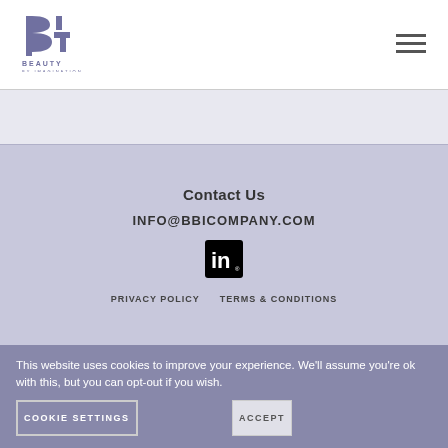[Figure (logo): Beauty by Imagination logo — stylized 'BI' lettermark in slate-blue/purple with 'BEAUTY BY IMAGINATION' text below]
[Figure (other): Hamburger menu icon (three horizontal lines) in top-right corner]
Contact Us
INFO@BBICOMPANY.COM
[Figure (logo): LinkedIn square logo icon (white 'in' on black background)]
PRIVACY POLICY    TERMS & CONDITIONS
This website uses cookies to improve your experience. We'll assume you're ok with this, but you can opt-out if you wish.
COOKIE SETTINGS
ACCEPT